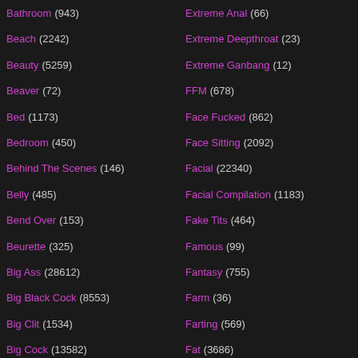Bathroom (943)
Beach (2242)
Beauty (5259)
Beaver (72)
Bed (1173)
Bedroom (450)
Behind The Scenes (146)
Belly (485)
Bend Over (153)
Beurette (325)
Big Ass (28612)
Big Black Cock (8553)
Big Clit (1534)
Big Cock (13582)
Big Natural Tits (5589)
Big Nipples (1099)
Extreme Anal (66)
Extreme Deepthroat (23)
Extreme Ganbang (12)
FFM (678)
Face Fucked (862)
Face Sitting (2092)
Facial (22340)
Facial Compilation (1183)
Fake Tits (464)
Famous (99)
Fantasy (755)
Farm (36)
Farting (569)
Fat (3686)
Fat Guy (371)
Fat Mature (121)